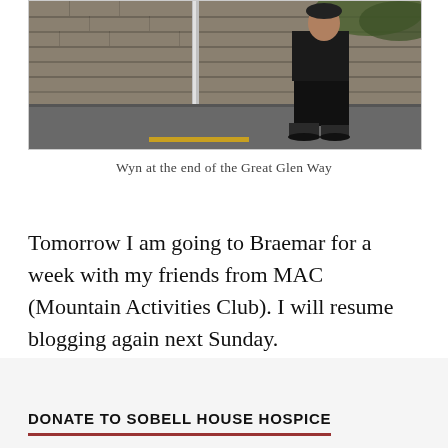[Figure (photo): Photo of Wyn standing at the end of the Great Glen Way, in front of a stone wall with a metal pole, wearing dark clothing and boots]
Wyn at the end of the Great Glen Way
Tomorrow I am going to Braemar for a week with my friends from MAC (Mountain Activities Club).   I will resume blogging again next Sunday.
DONATE TO SOBELL HOUSE HOSPICE